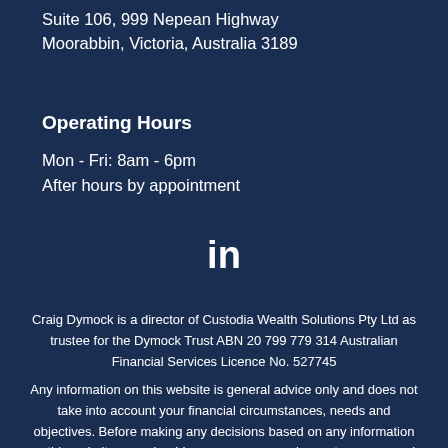Suite 106, 999 Nepean Highway
Moorabbin, Victoria, Australia 3189
Operating Hours
Mon - Fri: 8am - 6pm
After hours by appointment
[Figure (logo): LinkedIn logo icon (in) in white on dark navy background]
Craig Dymock is a director of Custodia Wealth Solutions Pty Ltd as trustee for the Dymock Trust ABN 20 799 779 314 Australian Financial Services Licence No. 527745
Any information on this website is general advice only and does not take into account your financial circumstances, needs and objectives. Before making any decisions based on any information on this website, you should assess your own circumstances or seek advice